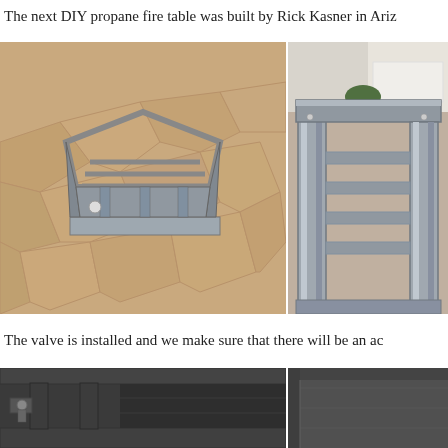The next DIY propane fire table was built by Rick Kasner in Ariz
[Figure (photo): Metal pentagon-shaped fire table frame on a flagstone patio, showing steel/aluminum construction from a top-angle view]
[Figure (photo): Close-up corner detail of the metal fire table frame showing aluminum channel construction and fasteners]
The valve is installed and we make sure that there will be an ac
[Figure (photo): Close-up of valve installed on the dark metal fire table frame]
[Figure (photo): Close-up detail of dark metal panel/corner of the fire table]